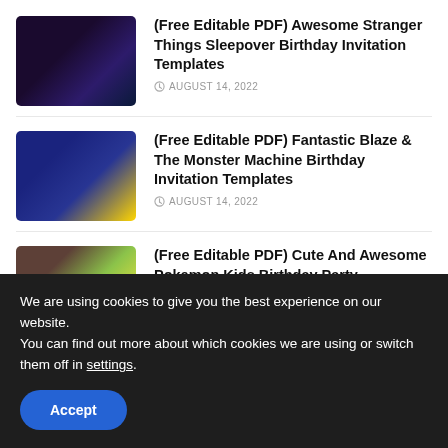(Free Editable PDF) Awesome Stranger Things Sleepover Birthday Invitation Templates
(Free Editable PDF) Fantastic Blaze & The Monster Machine Birthday Invitation Templates
(Free Editable PDF) Cute And Awesome Pokemon Kids Birthday Party
We are using cookies to give you the best experience on our website.
You can find out more about which cookies we are using or switch them off in settings.